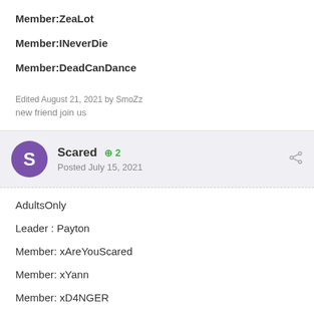Member:ZeaLot
Member:INeverDie
Member:DeadCanDance
Edited August 21, 2021 by SmoZz
new friend join us
Scared · 2 · Posted July 15, 2021
AdultsOnly
Leader : Payton
Member: xAreYouScared
Member: xYann
Member: xD4NGER